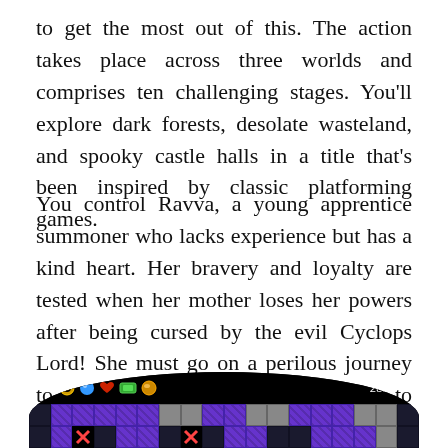to get the most out of this. The action takes place across three worlds and comprises ten challenging stages. You'll explore dark forests, desolate wasteland, and spooky castle halls in a title that's been inspired by classic platforming games.
You control Ravva, a young apprentice summoner who lacks experience but has a kind heart. Her bravery and loyalty are tested when her mother loses her powers after being cursed by the evil Cyclops Lord! She must go on a perilous journey to save her mother and restore peace to their once calm and happy lands.
[Figure (screenshot): A retro-style video game screenshot showing a game HUD with TIMER showing 281 and 019, colorful icons, and purple/gray tile platforms on a black background, cropped in an oval shape at the bottom of the page.]